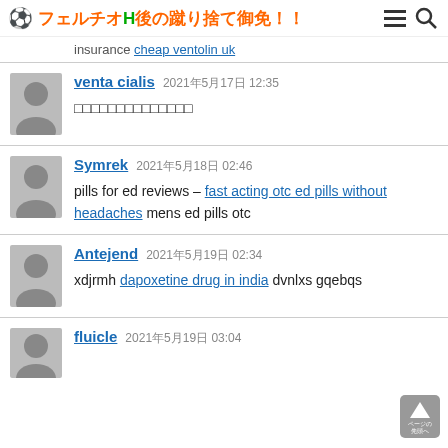⚽ フェルチオH後の蹴り捨て御免！！
insurance cheap ventolin uk
venta cialis  2021年5月17日 12:35
□□□□□□□□□□□□□□
Symrek  2021年5月18日 02:46
pills for ed reviews – fast acting otc ed pills without headaches mens ed pills otc
Antejend  2021年5月19日 02:34
xdjrmh dapoxetine drug in india dvnlxs gqebqs
fluicle  2021年5月19日 03:04